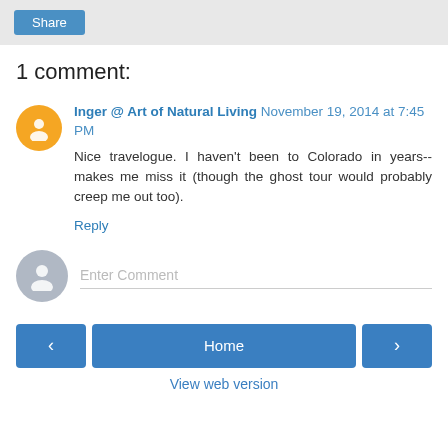Share
1 comment:
Inger @ Art of Natural Living November 19, 2014 at 7:45 PM
Nice travelogue. I haven't been to Colorado in years--makes me miss it (though the ghost tour would probably creep me out too).
Reply
Enter Comment
< Home > View web version